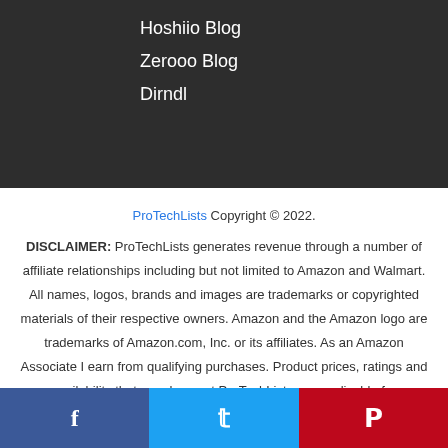Hoshiio Blog
Zerooo Blog
Dirndl
ProTechLists Copyright © 2022.
DISCLAIMER: ProTechLists generates revenue through a number of affiliate relationships including but not limited to Amazon and Walmart. All names, logos, brands and images are trademarks or copyrighted materials of their respective owners. Amazon and the Amazon logo are trademarks of Amazon.com, Inc. or its affiliates. As an Amazon Associate I earn from qualifying purchases. Product prices, ratings and availability that are shown at ProTechLists are applicable for Amazon.com Marketplace only! Any prices, ratings and product availability from other Amazon local marketplaces such as Amazon.co.uk, Amazon.de, Amazon.in
f  Twitter  P